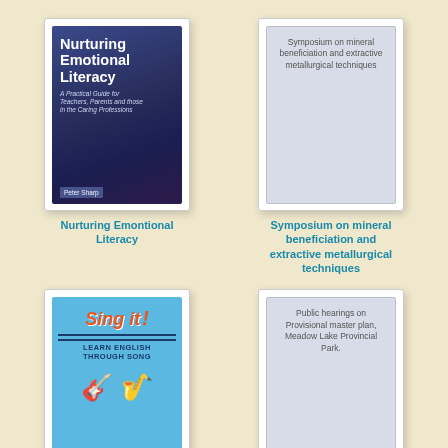[Figure (photo): Book cover: Nurturing Emotional Literacy by Peter Sharp. Dark blue/purple background with bold white title text and italic subtitle 'A Practical Guide for Teachers, Parents and those in the Caring Professions'.]
Nurturing Emontional Literacy
[Figure (illustration): Placeholder book cover (grey) with text: Symposium on mineral beneficiation and extractive metallurgical techniques]
Symposium on mineral beneficiation and extractive metallurgical techniques
[Figure (photo): Book cover: Sing It! Learn English Through Song. Blue background with orange italic title 'Sing it!' and navy subtitle text.]
[Figure (illustration): Placeholder book cover (grey) with text: Public hearings on Provisional master plan, Meadow Lake Provincial Park.]